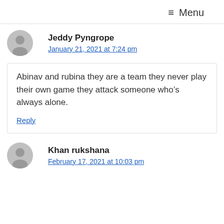≡ Menu
Jeddy Pyngrope
January 21, 2021 at 7:24 pm
Abinav and rubina they are a team they never play their own game they attack someone who’s always alone.
Reply
Khan rukshana
February 17, 2021 at 10:03 pm